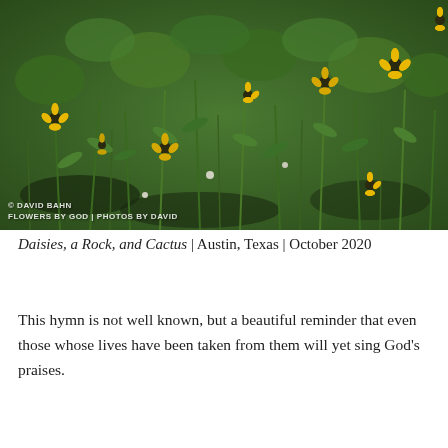[Figure (photo): A field of yellow daisy-like wildflowers with green stems and leaves growing densely. A watermark reads 'C DAVID BAHN / FLOWERS BY GOD | PHOTOS BY DAVID' in the lower left corner.]
Daisies, a Rock, and Cactus | Austin, Texas | October 2020
This hymn is not well known, but a beautiful reminder that even those whose lives have been taken from them will yet sing God's praises.